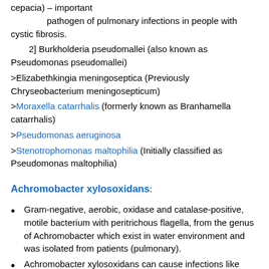cepacia) – important pathogen of pulmonary infections in people with cystic fibrosis.
2] Burkholderia pseudomallei (also known as Pseudomonas pseudomallei)
>Elizabethkingia meningoseptica (Previously Chryseobacterium meningosepticum)
>Moraxella catarrhalis (formerly known as Branhamella catarrhalis)
>Pseudomonas aeruginosa
>Stenotrophomonas maltophilia (Initially classified as Pseudomonas maltophilia)
Achromobacter xylosoxidans:
Gram-negative, aerobic, oxidase and catalase-positive, motile bacterium with peritrichous flagella, from the genus of Achromobacter which exist in water environment and was isolated from patients (pulmonary).
Achromobacter xylosoxidans can cause infections like